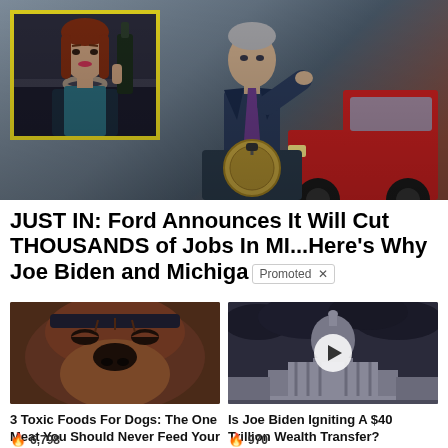[Figure (photo): Main news article image: a man in a blue suit speaking at a presidential podium with a golden seal, with a red truck visible on the right side. In the upper-left corner, an inset image with a yellow border shows a woman with red hair holding a dark bottle.]
JUST IN: Ford Announces It Will Cut THOUSANDS of Jobs In MI...Here’s Why Joe Biden and Michiga
[Figure (photo): Close-up photo of a brown/reddish dog's face with a dark muzzle, appearing to be a pit bull type dog lying down.]
[Figure (photo): Black and white photo of the US Capitol building with dramatic cloudy sky, with a circular play button overlay indicating a video.]
3 Toxic Foods For Dogs: The One Meat You Should Never Feed Your Dog
Is Joe Biden Igniting A $40 Trillion Wealth Transfer?
🔥 6,798
🔥 970